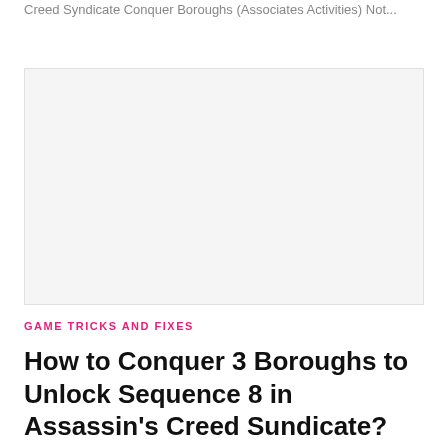Creed Syndicate Conquer Boroughs (Associates Activities) Not...
[Figure (photo): Large image placeholder area, light gray background]
GAME TRICKS AND FIXES
How to Conquer 3 Boroughs to Unlock Sequence 8 in Assassin's Creed Sundicate?